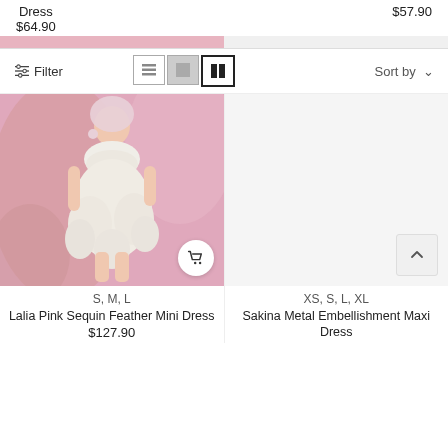Dress
$64.90
$57.90
[Figure (screenshot): E-commerce filter bar with list/grid view toggle icons and Sort by dropdown]
[Figure (photo): Lalia Pink Sequin Feather Mini Dress worn by model against pink satin background]
[Figure (photo): Sakina Metal Embellishment Maxi Dress product image area (mostly white/blank)]
S, M, L
Lalia Pink Sequin Feather Mini Dress
$127.90
XS, S, L, XL
Sakina Metal Embellishment Maxi Dress